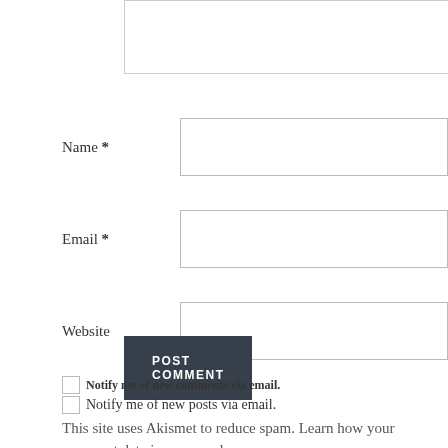[Figure (screenshot): Partial textarea form field at top of page, showing bottom portion with resize handle]
Name *
Email *
Website
POST COMMENT
Notify me of new comments via email.
Notify me of new posts via email.
This site uses Akismet to reduce spam. Learn how your comment data is processed.